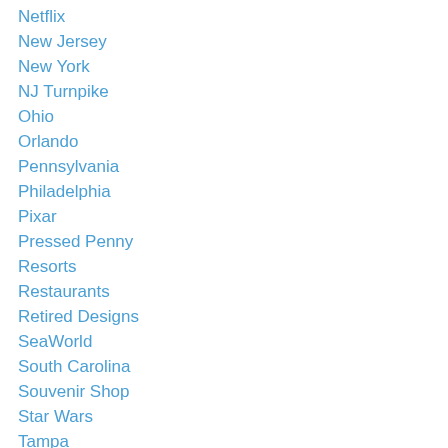Netflix
New Jersey
New York
NJ Turnpike
Ohio
Orlando
Pennsylvania
Philadelphia
Pixar
Pressed Penny
Resorts
Restaurants
Retired Designs
SeaWorld
South Carolina
Souvenir Shop
Star Wars
Tampa
TEC News
Theme Park